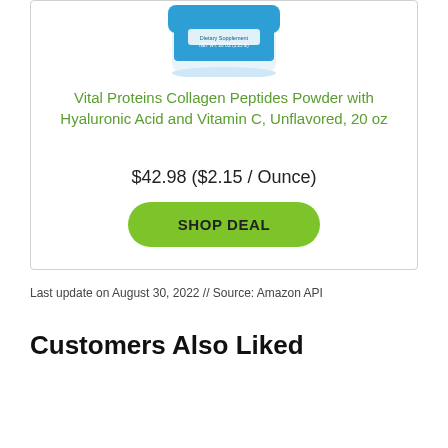[Figure (photo): Product image of Vital Proteins Collagen Peptides Powder container, blue lid, partially cropped at top]
Vital Proteins Collagen Peptides Powder with Hyaluronic Acid and Vitamin C, Unflavored, 20 oz
$42.98 ($2.15 / Ounce)
SHOP DEAL
Last update on August 30, 2022 // Source: Amazon API
Customers Also Liked